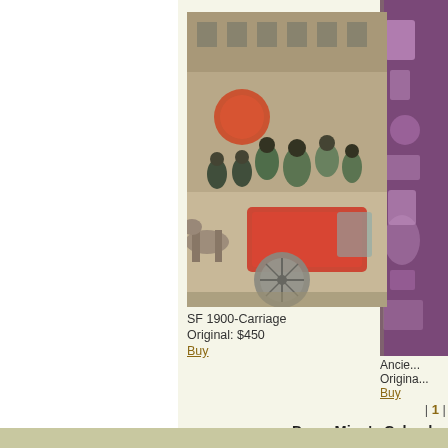[Figure (photo): Painting of a horse-drawn carriage scene in San Francisco circa 1900, with multiple figures in period clothing]
[Figure (photo): Partial view of another artwork on the right edge, appears purple/violet toned with decorative elements]
SF 1900-Carriage
Original: $450
Buy
Ancie...
Origina...
Buy
| 1 |
Dawn Ming's Calendar
| Open Studios | Day & Time |
| --- | --- |
| San Francisco OS Fort Mason | November 3 - 4, 2018 |